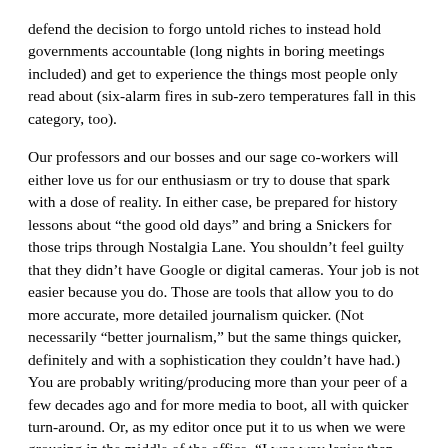defend the decision to forgo untold riches to instead hold governments accountable (long nights in boring meetings included) and get to experience the things most people only read about (six-alarm fires in sub-zero temperatures fall in this category, too).
Our professors and our bosses and our sage co-workers will either love us for our enthusiasm or try to douse that spark with a dose of reality. In either case, be prepared for history lessons about “the good old days” and bring a Snickers for those trips through Nostalgia Lane. You shouldn’t feel guilty that they didn’t have Google or digital cameras. Your job is not easier because you do. Those are tools that allow you to do more accurate, more detailed journalism quicker. (Not necessarily “better journalism,” but the same things quicker, definitely and with a sophistication they couldn’t have had.) You are probably writing/producing more than your peer of a few decades ago and for more media to boot, all with quicker turn-around. Or, as my editor once put it to us when we were grousing in the middle of the office, “I was way lazier than you guys when I was a reporter.” It made me laugh and feel better. But the difference is, he may have been able to afford a little slacking. We can’t afford complacency. Our future, both our jobs and our industry, is on the line.
But we, young journalists, are just as guilty of pessimism, even if